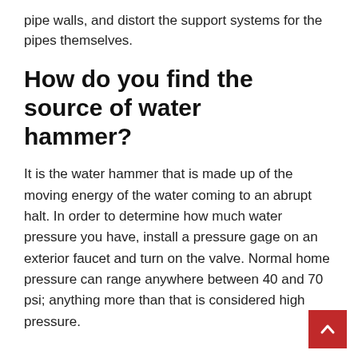pipe walls, and distort the support systems for the pipes themselves.
How do you find the source of water hammer?
It is the water hammer that is made up of the moving energy of the water coming to an abrupt halt. In order to determine how much water pressure you have, install a pressure gage on an exterior faucet and turn on the valve. Normal home pressure can range anywhere between 40 and 70 psi; anything more than that is considered high pressure.